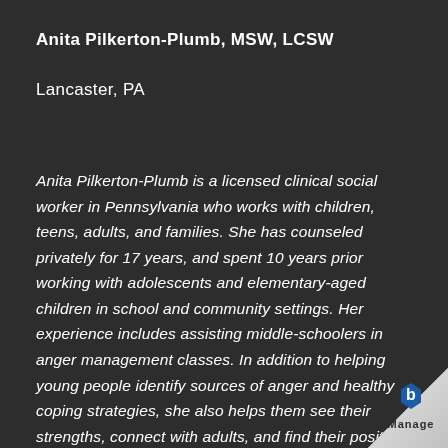Anita Pilkerton-Plumb, MSW, LCSW
Lancaster, PA
Anita Pilkerton-Plumb is a licensed clinical social worker in Pennsylvania who works with children, teens, adults, and families. She has counseled privately for 17 years, and spent 10 years prior working with adolescents and elementary-aged children in school and community settings. Her experience includes assisting middle-schoolers in anger management classes. In addition to helping young people identify sources of anger and healthy coping strategies, she also helps them see their strengths, connect with adults, and find their positive purpose within their school community.
[Figure (logo): Manage logo with blue hexagon icon and 'Manage' text on a page curl overlay in bottom right corner]